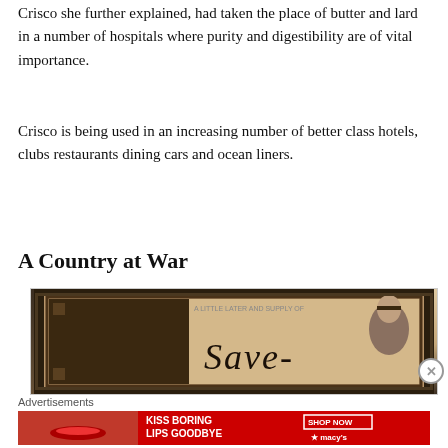Crisco she further explained, had taken the place of butter and lard in a number of hospitals where purity and digestibility are of vital importance.
Crisco is being used in an increasing number of better class hotels, clubs restaurants dining cars and ocean liners.
A Country at War
[Figure (illustration): Vintage sepia-toned advertisement image showing text 'Save-' with illustrated female figures, ornate dark frame border]
Advertisements
[Figure (illustration): Macy's red advertisement banner: 'KISS BORING LIPS GOODBYE' with 'SHOP NOW' button and Macy's star logo, featuring a woman's face with red lips]